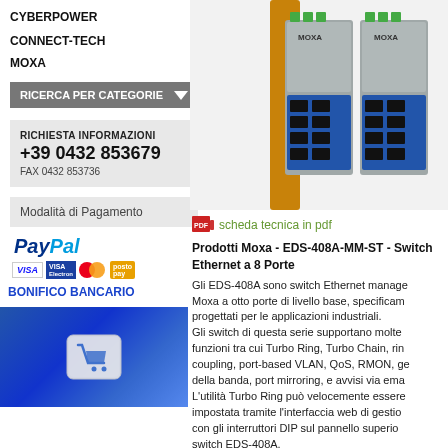CYBERPOWER
CONNECT-TECH
MOXA
RICERCA PER CATEGORIE
RICHIESTA INFORMAZIONI
+39 0432 853679
FAX 0432 853736
Modalità di Pagamento
PayPal
VISA  VISA Electron  MasterCard  postepay
BONIFICO BANCARIO
[Figure (photo): Shopping cart keyboard button with white cart icon on blue key]
[Figure (photo): Two Moxa EDS-408A industrial Ethernet switches mounted on DIN rail]
scheda tecnica in pdf
Prodotti Moxa - EDS-408A-MM-ST - Switch Ethernet a 8 Porte
Gli EDS-408A sono switch Ethernet managed Moxa a otto porte di livello base, specificam progettati per le applicazioni industriali.
Gli switch di questa serie supportano molte funzioni tra cui Turbo Ring, Turbo Chain, rin coupling, port-based VLAN, QoS, RMON, ge della banda, port mirroring, e avvisi via ema L'utilità Turbo Ring può velocemente essere impostata tramite l'interfaccia web di gestio con gli interruttori DIP sul pannello superio switch EDS-408A.